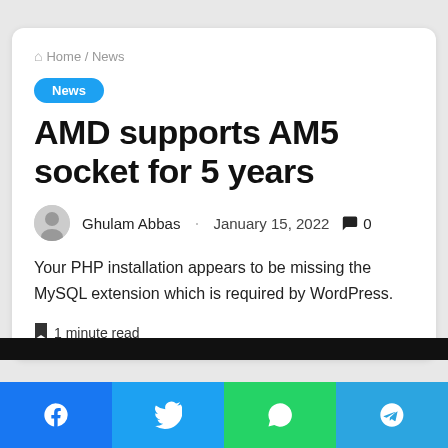🏠 Home / News
News
AMD supports AM5 socket for 5 years
Ghulam Abbas · January 15, 2022 💬 0
Your PHP installation appears to be missing the MySQL extension which is required by WordPress.
🔖 1 minute read